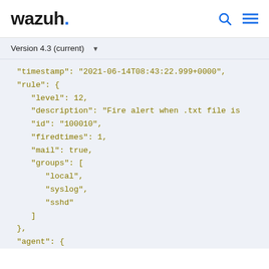wazuh.
Version 4.3 (current)
"timestamp": "2021-06-14T08:43:22.999+0000",
"rule": {
  "level": 12,
  "description": "Fire alert when .txt file is
  "id": "100010",
  "firedtimes": 1,
  "mail": true,
  "groups": [
    "local",
    "syslog",
    "sshd"
  ]
},
"agent": {